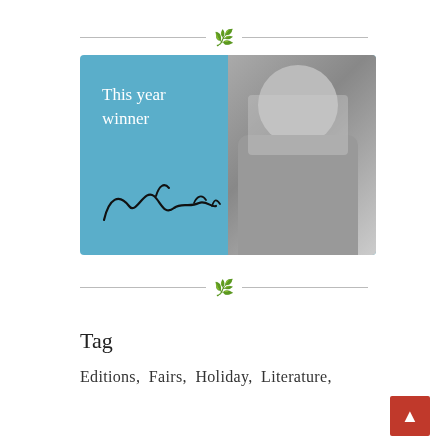— ❧ —
[Figure (illustration): Promotional banner with blue background reading 'This year winner' with a signature and a black-and-white photo of a bearded man wearing sunglasses with arms crossed]
— ❧ —
Tag
Editions, Fairs, Holiday, Literature,